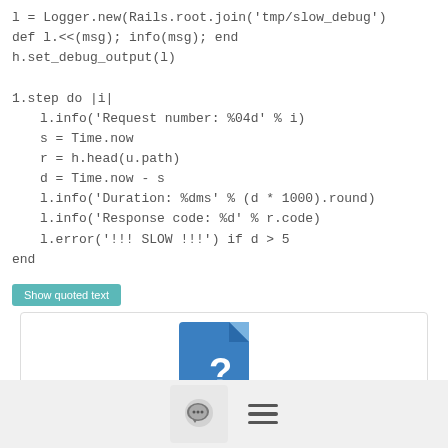l = Logger.new(Rails.root.join('tmp/slow_debug'))
def l.<<(msg); info(msg); end
h.set_debug_output(l)

1.step do |i|
  l.info('Request number: %04d' % i)
  s = Time.now
  r = h.head(u.path)
  d = Time.now - s
  l.info('Duration: %dms' % (d * 1000).round)
  l.info('Response code: %d' % r.code)
  l.error('!!! SLOW !!!') if d > 5
end
Show quoted text
[Figure (other): A blue document/file icon with a question mark, inside a rounded border box]
[Figure (other): Bottom navigation bar with a chat bubble icon button and a hamburger menu icon]